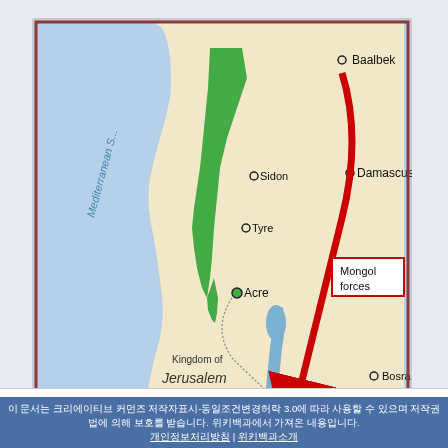[Figure (map): Historical map showing the Battle of Ain Jalut (1260). The map covers the eastern Mediterranean region including the Kingdom of Jerusalem. A red arrow shows Mongol forces moving from Baalbek/Damascus southward to Ain Jalut. A purple/magenta arrow shows Mamluk forces moving northward from Gaza through Jerusalem to Ain Jalut. Cities labeled: Baalbek, Sidon, Damascus, Tyre, Acre, Bosra, Ajlun, Ain Jalut, Salt, Jerusalem, Hebron, Gaza. The battle site at Ain Jalut is marked with crossed swords. A scale bar shows Km/Miles with 50 marked. The Mediterranean Sea is shown in blue to the left, green areas along coast, and tan/yellow for the inland areas.]
날짜
1260년9월3일
장소
아인잘루트
다양한 문자 텍스트 (Japanese/Korean/Chinese characters visible in footer bar)
개인정보처리방침 | 위키백과소개